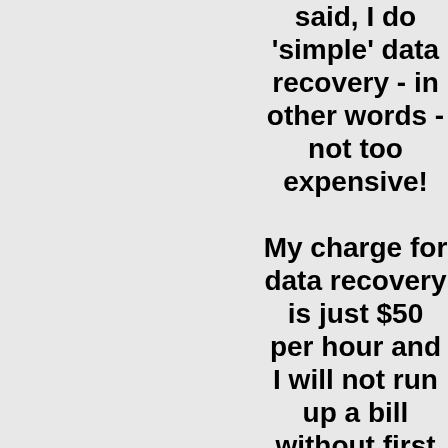said, I do 'simple' data recovery - in other words - not too expensive!

My charge for data recovery is just $50 per hour and I will not run up a bill without first warning you - if I can't get any data then you don't pay.